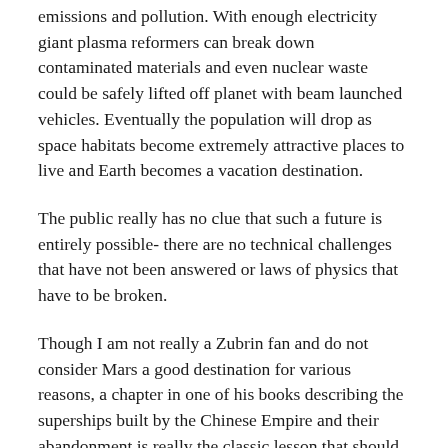emissions and pollution. With enough electricity giant plasma reformers can break down contaminated materials and even nuclear waste could be safely lifted off planet with beam launched vehicles. Eventually the population will drop as space habitats become extremely attractive places to live and Earth becomes a vacation destination.
The public really has no clue that such a future is entirely possible- there are no technical challenges that have not been answered or laws of physics that have to be broken.
Though I am not really a Zubrin fan and do not consider Mars a good destination for various reasons, a chapter in one of his books describing the superships built by the Chinese Empire and their abandonment is really the classic lesson that should be taught to the public anyone advocating space travel. There is nothing stopping the human race from going into space except our lack of vision.